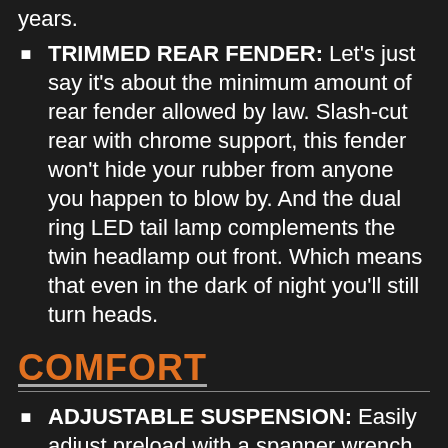years.
TRIMMED REAR FENDER: Let's just say it's about the minimum amount of rear fender allowed by law. Slash-cut rear with chrome support, this fender won't hide your rubber from anyone you happen to blow by. And the dual ring LED tail lamp complements the twin headlamp out front. Which means that even in the dark of night you'll still turn heads.
COMFORT
ADJUSTABLE SUSPENSION: Easily adjust preload with a spanner wrench to suit your suspension to your riding style. The slammed low rear...